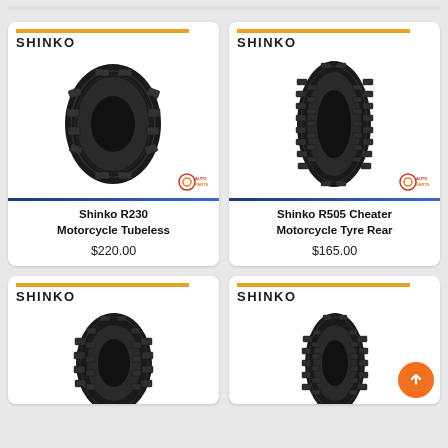[Figure (photo): Shinko R230 Motorcycle Tubeless tire product card with tire image]
Shinko R230 Motorcycle Tubeless
$220.00
[Figure (photo): Shinko R505 Cheater Motorcycle Tyre Rear tire product card with tire image]
Shinko R505 Cheater Motorcycle Tyre Rear
$165.00
[Figure (photo): Shinko motorcycle tire product card - bottom left, partially visible]
[Figure (photo): Shinko motorcycle tire product card - bottom right, partially visible, with orange scroll-to-top button]